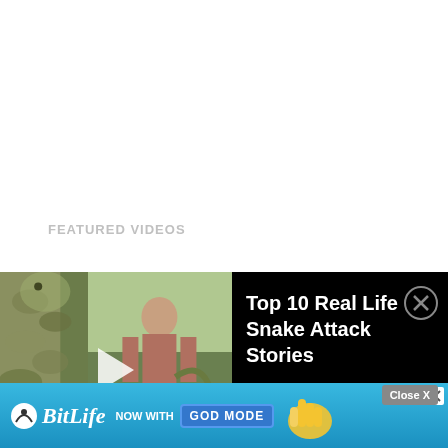FEATURED VIDEOS
[Figure (screenshot): Video player showing snake attack video thumbnail with a man holding a snake, WatchMojo logo, and video title 'Top 10 Real Life Snake Attack Stories' on black background with close button]
6-10 Shaven Thoughts
[Figure (screenshot): BitLife advertisement banner with 'NOW WITH GOD MODE' text on blue background with hand pointing graphic and close buttons]